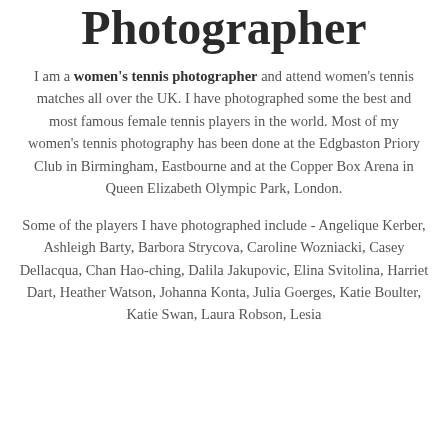Photographer
I am a women's tennis photographer and attend women's tennis matches all over the UK. I have photographed some the best and most famous female tennis players in the world. Most of my women's tennis photography has been done at the Edgbaston Priory Club in Birmingham, Eastbourne and at the Copper Box Arena in Queen Elizabeth Olympic Park, London.
Some of the players I have photographed include - Angelique Kerber, Ashleigh Barty, Barbora Strycova, Caroline Wozniacki, Casey Dellacqua, Chan Hao-ching, Dalila Jakupovic, Elina Svitolina, Harriet Dart, Heather Watson, Johanna Konta, Julia Goerges, Katie Boulter, Katie Swan, Laura Robson, Lesia